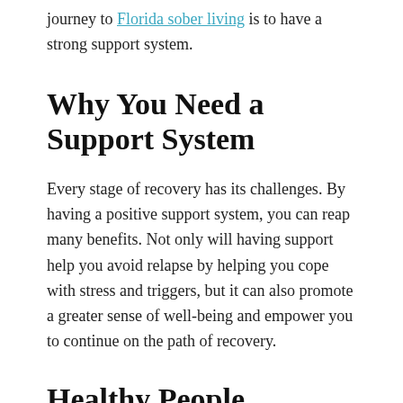journey to Florida sober living is to have a strong support system.
Why You Need a Support System
Every stage of recovery has its challenges. By having a positive support system, you can reap many benefits. Not only will having support help you avoid relapse by helping you cope with stress and triggers, but it can also promote a greater sense of well-being and empower you to continue on the path of recovery.
Healthy People, Healthy